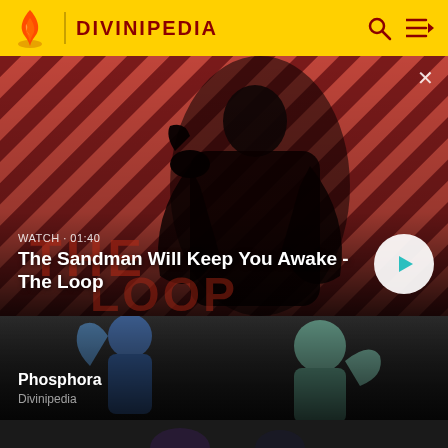DIVINIPEDIA
[Figure (screenshot): Hero video banner with diagonal red/dark stripe background pattern and dark-cloaked figure with bird on shoulder. Text overlay: WATCH · 01:40 / The Sandman Will Keep You Awake - The Loop. Play button on right.]
[Figure (illustration): Illustrated card showing animated character(s) with dark gradient background. Title: Phosphora. Subtitle: Divinipedia.]
[Figure (illustration): Partially visible bottom card with dark background, showing partial illustration.]